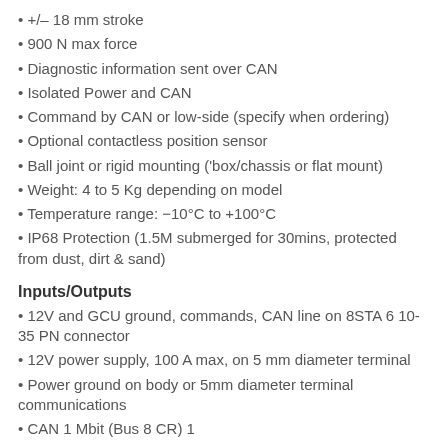+/– 18 mm stroke
900 N max force
Diagnostic information sent over CAN
Isolated Power and CAN
Command by CAN or low-side (specify when ordering)
Optional contactless position sensor
Ball joint or rigid mounting ('box/chassis or flat mount)
Weight: 4 to 5 Kg depending on model
Temperature range: −10°C to +100°C
IP68 Protection (1.5M submerged for 30mins, protected from dust, dirt & sand)
Inputs/Outputs
12V and GCU ground, commands, CAN line on 8STA 6 10-35 PN connector
12V power supply, 100 A max, on 5 mm diameter terminal
Power ground on body or 5mm diameter terminal communications
CAN 1 Mbit (Bus 8 CR) 1